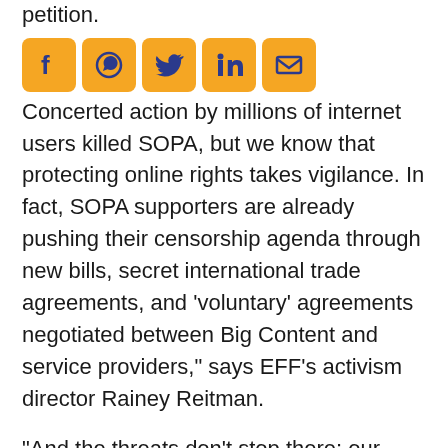petition.
[Figure (other): Row of five social media sharing icon buttons: Facebook, WhatsApp, Twitter, LinkedIn, Email — each in an orange rounded square.]
Concerted action by millions of internet users killed SOPA, but we know that protecting online rights takes vigilance. In fact, SOPA supporters are already pushing their censorship agenda through new bills, secret international trade agreements, and ‘voluntary’ agreements negotiated between Big Content and service providers,” says EFF’s activism director Rainey Reitman.
“And the threats don’t stop there: our rights to communicate and browse the web in private are also at risk, thanks to proposed Big Brother